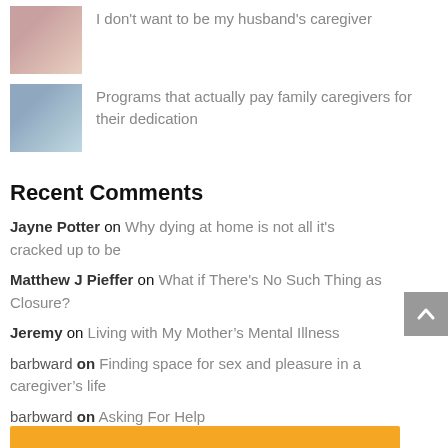I don't want to be my husband's caregiver
Programs that actually pay family caregivers for their dedication
Recent Comments
Jayne Potter on Why dying at home is not all it's cracked up to be
Matthew J Pieffer on What if There's No Such Thing as Closure?
Jeremy on Living with My Mother's Mental Illness
barbward on Finding space for sex and pleasure in a caregiver's life
barbward on Asking For Help